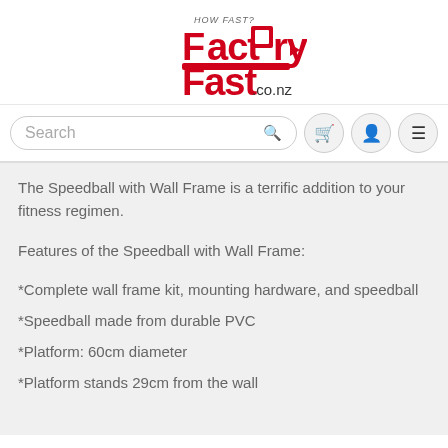[Figure (logo): FactoryFast.co.nz logo — red bold text with factory/speed imagery and shopping cart icon]
Search
The Speedball with Wall Frame is a terrific addition to your fitness regimen.
Features of the Speedball with Wall Frame:
*Complete wall frame kit, mounting hardware, and speedball
*Speedball made from durable PVC
*Platform: 60cm diameter
*Platform stands 29cm from the wall